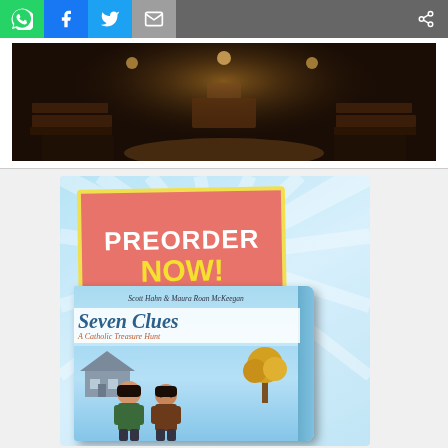[Figure (screenshot): Social media sharing toolbar with WhatsApp (green), Facebook (blue), Twitter (light blue), Email (gray), and share icon buttons]
[Figure (photo): Interior photograph of a dark church with wooden pews and warm ambient lighting]
[Figure (illustration): Advertisement for 'Seven Clues: A Catholic Treasure Hunt' by Scott Hahn & Maura Roan McKeegan. Pink box with yellow border says 'PREORDER NOW!' in white and yellow text. Below is illustrated children's book cover with two boys on a light blue background.]